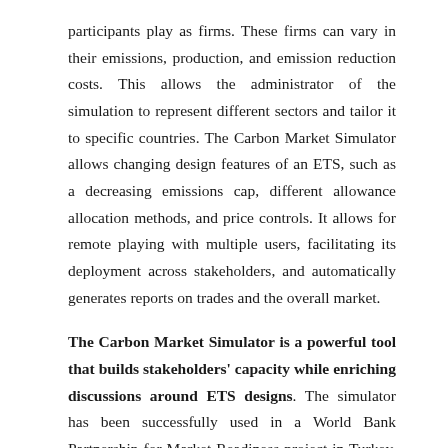participants play as firms. These firms can vary in their emissions, production, and emission reduction costs. This allows the administrator of the simulation to represent different sectors and tailor it to specific countries. The Carbon Market Simulator allows changing design features of an ETS, such as a decreasing emissions cap, different allowance allocation methods, and price controls. It allows for remote playing with multiple users, facilitating its deployment across stakeholders, and automatically generates reports on trades and the overall market.
The Carbon Market Simulator is a powerful tool that builds stakeholders' capacity while enriching discussions around ETS designs. The simulator has been successfully used in a World Bank Partnership for Market Readiness project in Turkey, where over 60 participants attended five